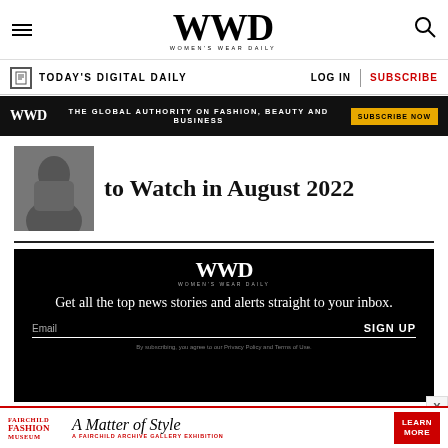WWD Women's Wear Daily
TODAY'S DIGITAL DAILY | LOG IN | SUBSCRIBE
WWD THE GLOBAL AUTHORITY ON FASHION, BEAUTY AND BUSINESS SUBSCRIBE NOW
to Watch in August 2022
[Figure (photo): Black and white thumbnail photo]
Get all the top news stories and alerts straight to your inbox. Email SIGN UP By subscribing, you agree to our Privacy Policy and Terms of Use.
FAIRCHILD FASHION MUSEUM A Matter of Style A FAIRCHILD ARCHIVE GALLERY EXHIBITION LEARN MORE